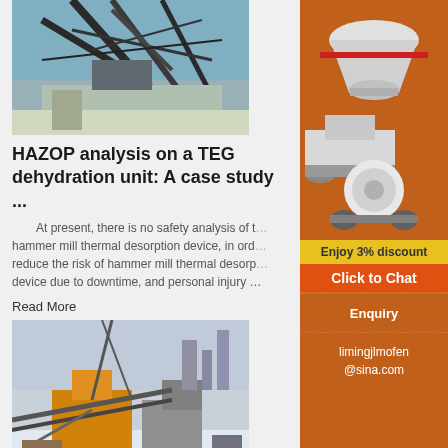[Figure (photo): Industrial conveyor belt and mining/processing facility structure with metal framework against blue sky]
HAZOP analysis on a TEG dehydration unit: A case study ...
At present, there is no safety analysis of the hammer mill thermal desorption device, in order to reduce the risk of hammer mill thermal desorption device due to downtime, and personal injury ...
Read More
[Figure (photo): Mining equipment and machinery operating in a snowy/winter outdoor environment]
M I SWACO TCC Hammermill Pro... Mill
[Figure (photo): Advertisement showing industrial crushing/milling machines - cone crusher, mobile crusher, and grinding mill on orange background]
Enjoy 3% discount
Click to Chat
Enquiry
limingjlmofen@sina.com